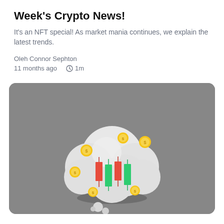Week's Crypto News!
It's an NFT special! As market mania continues, we explain the latest trends.
Oleh Connor Sephton
11 months ago  1m
[Figure (illustration): 3D illustration of a thought-bubble cloud shape with candlestick chart candles (red and green) inside it, surrounded by gold coins, on a grey background]